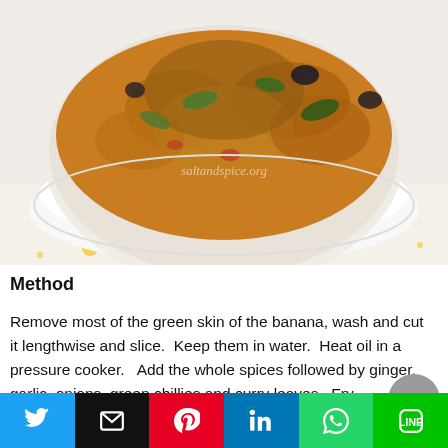[Figure (photo): A white bowl filled with spiced green banana curry (thick orange-brown gravy with green and dark pieces), placed on a floral patterned cloth. Watermark reads saltandspice.org.]
Method
Remove most of the green skin of the banana, wash and cut it lengthwise and slice.  Keep them in water.  Heat oil in a pressure cooker.   Add the whole spices followed by ginger, garlic, onions, green chillies and curry leaves.  Fry
[Figure (infographic): Social sharing bar with six buttons: Twitter (blue), Email (black), Pinterest (red), LinkedIn (blue), WhatsApp (green), LINE (green)]